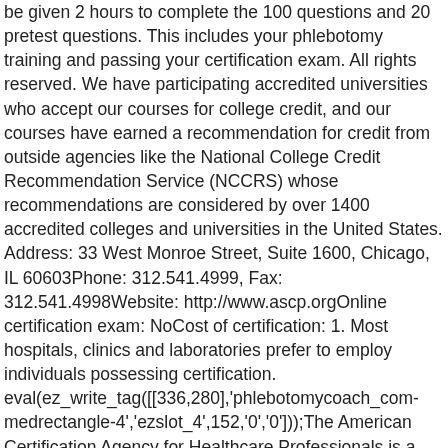be given 2 hours to complete the 100 questions and 20 pretest questions. This includes your phlebotomy training and passing your certification exam. All rights reserved. We have participating accredited universities who accept our courses for college credit, and our courses have earned a recommendation for credit from outside agencies like the National College Credit Recommendation Service (NCCRS) whose recommendations are considered by over 1400 accredited colleges and universities in the United States. Address: 33 West Monroe Street, Suite 1600, Chicago, IL 60603Phone: 312.541.4999, Fax: 312.541.4998Website: http://www.ascp.orgOnline certification exam: NoCost of certification: 1. Most hospitals, clinics and laboratories prefer to employ individuals possessing certification. eval(ez_write_tag([[336,280],'phlebotomycoach_com-medrectangle-4','ezslot_4',152,'0','0']));The American Certification Agency for Healthcare Professionals is a national